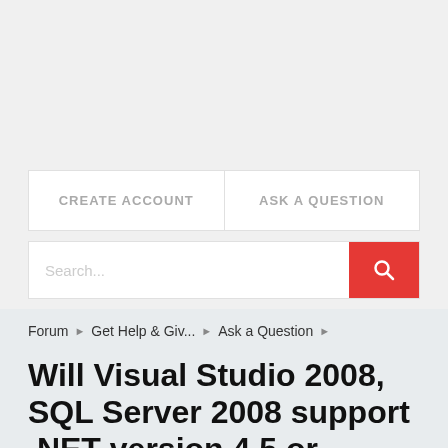[Figure (screenshot): Navigation buttons: CREATE ACCOUNT and ASK A QUESTION]
[Figure (screenshot): Search bar with red search button and magnifying glass icon]
Forum › Get Help & Giv... › Ask a Question ›
Will Visual Studio 2008, SQL Server 2008 support .NET version 4.5 or higher?